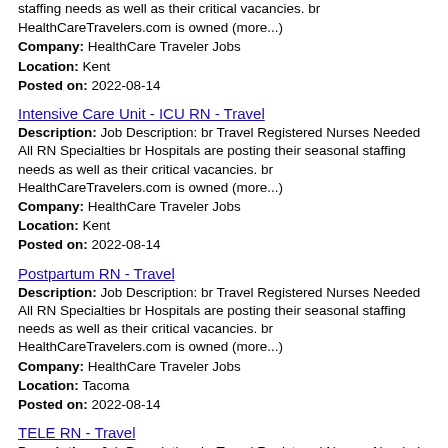staffing needs as well as their critical vacancies. br HealthCareTravelers.com is owned (more...)
Company: HealthCare Traveler Jobs
Location: Kent
Posted on: 2022-08-14
Intensive Care Unit - ICU RN - Travel
Description: Job Description: br Travel Registered Nurses Needed All RN Specialties br Hospitals are posting their seasonal staffing needs as well as their critical vacancies. br HealthCareTravelers.com is owned (more...)
Company: HealthCare Traveler Jobs
Location: Kent
Posted on: 2022-08-14
Postpartum RN - Travel
Description: Job Description: br Travel Registered Nurses Needed All RN Specialties br Hospitals are posting their seasonal staffing needs as well as their critical vacancies. br HealthCareTravelers.com is owned (more...)
Company: HealthCare Traveler Jobs
Location: Tacoma
Posted on: 2022-08-14
TELE RN - Travel
Description: Job Description: br Travel Registered Nurses Needed All RN Specialties br Hospitals are posting their seasonal staffing needs as well as their critical vacancies. br